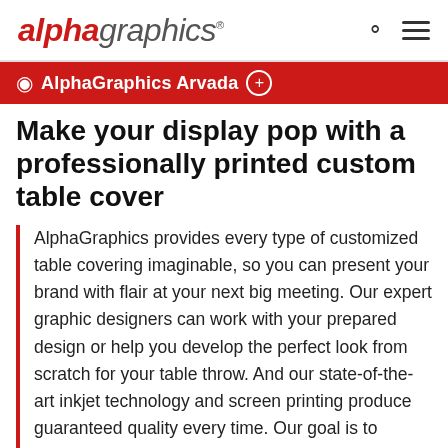alphagraphics®
AlphaGraphics Arvada ⊕
Make your display pop with a professionally printed custom table cover
AlphaGraphics provides every type of customized table covering imaginable, so you can present your brand with flair at your next big meeting. Our expert graphic designers can work with your prepared design or help you develop the perfect look from scratch for your table throw. And our state-of-the-art inkjet technology and screen printing produce guaranteed quality every time. Our goal is to provide you superior, cost-effective event solutions